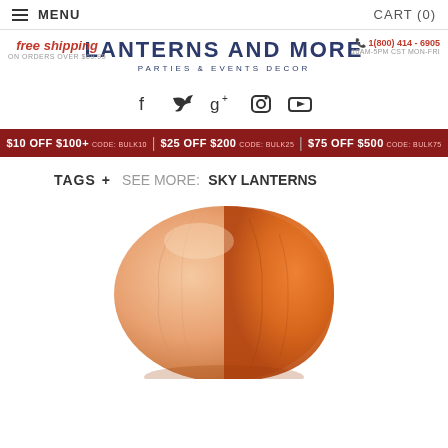MENU  CART (0)
LANTERNS AND MORE
PARTIES & EVENTS DECOR
free shipping ON ORDERS OVER $69.99
1(800) 414 - 6905  10AM-5PM CST MON-FRI
[Figure (illustration): Social media icons: Facebook, Twitter, Google+, Instagram, YouTube]
$10 OFF $100+ CODE: BULK10  |  $25 OFF $200 CODE: BULK25  |  $75 OFF $500 CODE: BULK75
TAGS +   SEE MORE: SKY LANTERNS
[Figure (photo): Orange and peach/white bi-color sky lantern, partially inflated, shown from above on white background]